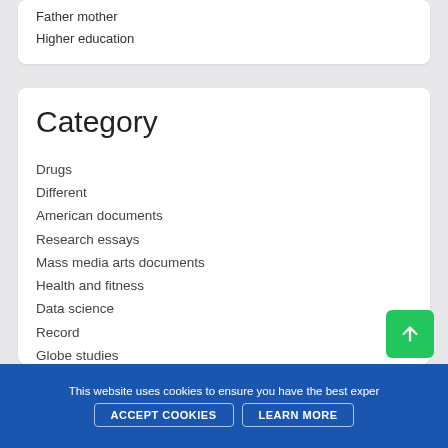Father mother
Higher education
Category
Drugs
Different
American documents
Research essays
Mass media arts documents
Health and fitness
Data science
Record
Globe studies
Career
Language
Religion
Details science
Pets
Literary arts documents
This website uses cookies to ensure you have the best exper...